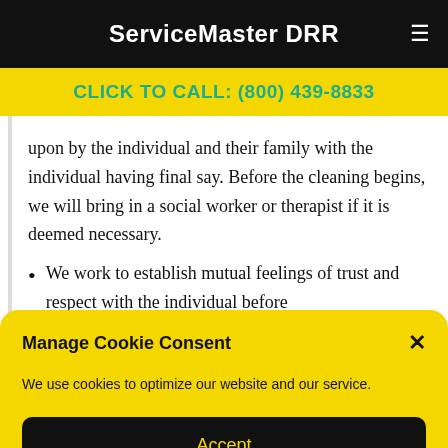ServiceMaster DRR
CLICK TO CALL: (800) 439-8833
upon by the individual and their family with the individual having final say. Before the cleaning begins, we will bring in a social worker or therapist if it is deemed necessary.
We work to establish mutual feelings of trust and respect with the individual before
Manage Cookie Consent
We use cookies to optimize our website and our service.
Accept
Cookie Policy  Privacy Policy